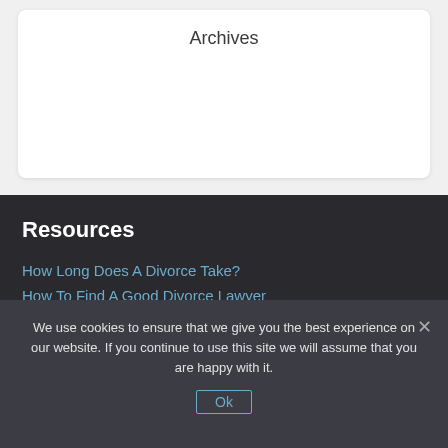Archives
Resources
How Long Does A Divorce Take?
How To Find A Good Divorce Lawyer
Divorce Lawyer Chronicles Blog
DC Car Accident Lawyers
We use cookies to ensure that we give you the best experience on our website. If you continue to use this site we will assume that you are happy with it.